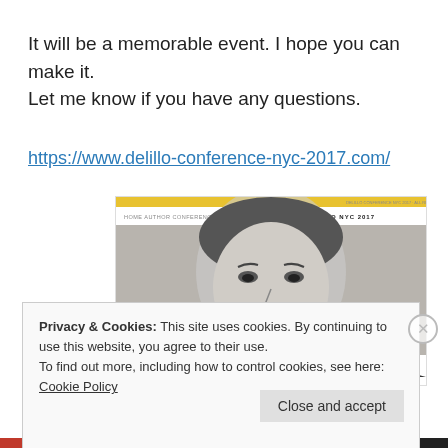It will be a memorable event. I hope you can make it. Let me know if you have any questions.
https://www.delillo-conference-nyc-2017.com/
[Figure (screenshot): Screenshot of the delillo-conference-nyc-2017.com website showing a yellow top bar, navigation with HOME, AUTHOR, CONFERENCE on left and DELILLO NYC 2017 on right, a black and white photo of a man's face, and yellow text at the bottom reading THE BODY ARTIST]
Privacy & Cookies: This site uses cookies. By continuing to use this website, you agree to their use.
To find out more, including how to control cookies, see here: Cookie Policy
Close and accept